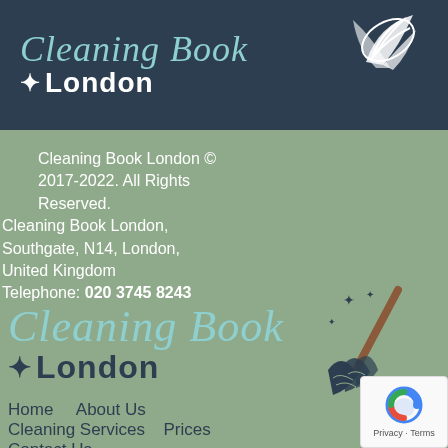[Figure (logo): Cleaning Book London logo with script text and broom/feather icon on dark navy background header]
Cleaning Book London © 2017-2022. All Rights Reserved.
Cleaning Book London, Southgate, N14, London, United Kingdom
Telephone: 020 3745 8243
[Figure (logo): Cleaning Book London logo in teal/navy with sparkles and broom icon on sage green background]
Home
About Us
Cleaning Services
Prices
Contact Us